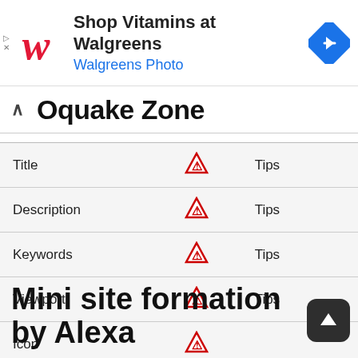[Figure (infographic): Walgreens advertisement banner with logo, text 'Shop Vitamins at Walgreens' and 'Walgreens Photo', and a blue navigation arrow icon]
Oquake Zone
|  |  |  |
| --- | --- | --- |
| Title | ⚠ | Tips |
| Description | ⚠ | Tips |
| Keywords | ⚠ | Tips |
| Viewport | ⚠ | Tips |
| Icon | ⚠ |  |
| UTF-8 | ⚠ |  |
Mini site formation by Alexa